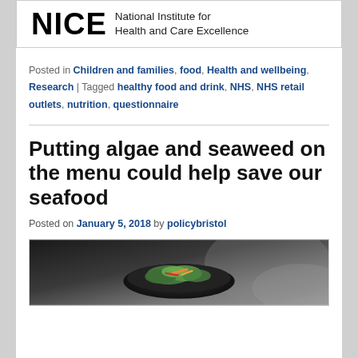[Figure (logo): NICE - National Institute for Health and Care Excellence logo]
Posted in Children and families, food, Health and wellbeing, Research | Tagged healthy food and drink, NHS, NHS retail outlets, nutrition, questionnaire
Putting algae and seaweed on the menu could help save our seafood
Posted on January 5, 2018 by policybristol
[Figure (photo): A bowl of green salad with colorful vegetables on a dark background]